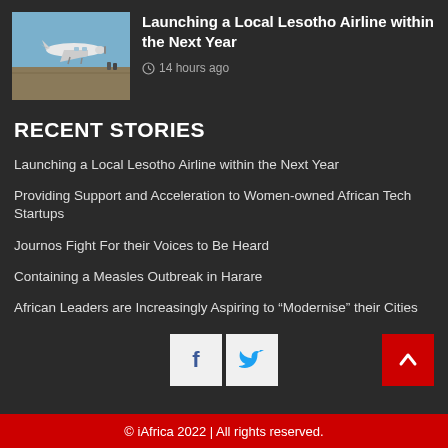[Figure (photo): Small propeller airplane on a runway/airfield]
Launching a Local Lesotho Airline within the Next Year
14 hours ago
RECENT STORIES
Launching a Local Lesotho Airline within the Next Year
Providing Support and Acceleration to Women-owned African Tech Startups
Journos Fight For their Voices to Be Heard
Containing a Measles Outbreak in Harare
African Leaders are Increasingly Aspiring to “Modernise” their Cities
© iAfrica 2022 | All rights reserved.